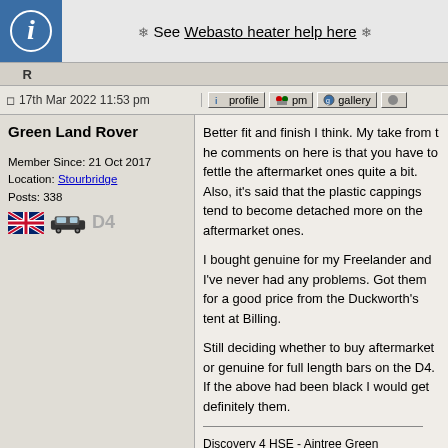❄ See Webasto heater help here ❄
17th Mar 2022 11:53 pm
Green Land Rover
Member Since: 21 Oct 2017
Location: Stourbridge
Posts: 338
Better fit and finish I think. My take from the comments on here is that you have to fettle the aftermarket ones quite a bit. Also, it's said that the plastic cappings tend to become detached more on the aftermarket ones.

I bought genuine for my Freelander and I've never had any problems. Got them for a good price from the Duckworth's tent at Billing.

Still deciding whether to buy aftermarket or genuine for full length bars on the D4. If the above had been black I would get definite them.
Discovery 4 HSE - Aintree Green
Freelander 2 TD4 SE Automatic - Tonga Green
Defender XS - Tonga Green - Gone Now
Freelander 1 Td4 ES Manual - Epsom Green - G
Freelander 1 Td4 Kalahari SE - Epsom Green - G
Freelander 1 XEi - Epsom Green - Gone Now

www.greenlandrover.uk